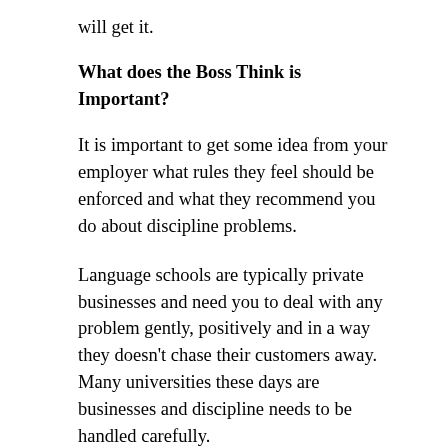will get it.
What does the Boss Think is Important?
It is important to get some idea from your employer what rules they feel should be enforced and what they recommend you do about discipline problems.
Language schools are typically private businesses and need you to deal with any problem gently, positively and in a way they doesn’t chase their customers away.  Many universities these days are businesses and discipline needs to be handled carefully.